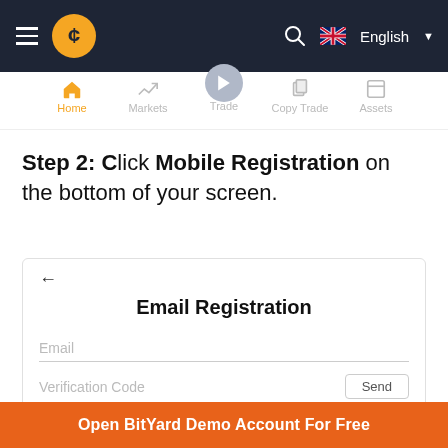[Figure (screenshot): Top navigation bar of BitYard website with hamburger menu, logo, search icon, and English language selector with UK flag]
[Figure (screenshot): Navigation tab bar with icons for Home (active/orange), Markets, Trade, Copy Trade, Assets]
Step 2: Click Mobile Registration on the bottom of your screen.
[Figure (screenshot): Mobile app screenshot showing Email Registration form with a back arrow, 'Email Registration' heading, Email input field, Verification Code input field, and Send button]
Open BitYard Demo Account For Free